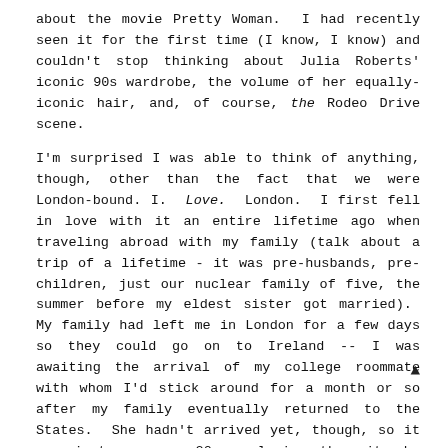about the movie Pretty Woman.  I had recently seen it for the first time (I know, I know) and couldn't stop thinking about Julia Roberts' iconic 90s wardrobe, the volume of her equally-iconic hair, and, of course, the Rodeo Drive scene.
I'm surprised I was able to think of anything, though, other than the fact that we were London-bound. I.  Love.  London.  I first fell in love with it an entire lifetime ago when traveling abroad with my family (talk about a trip of a lifetime - it was pre-husbands, pre-children, just our nuclear family of five, the summer before my eldest sister got married).  My family had left me in London for a few days so they could go on to Ireland -- I was awaiting the arrival of my college roommate with whom I'd stick around for a month or so after my family eventually returned to the States.  She hadn't arrived yet, though, so it was just me, age 20, exploring the city by myself, Oyster-card in hand, riding the Tube from H&M to H&M (I had never been to an H&M before and fell madly in love with the store, as my bank account would quickly, and irreversibly, reflect).
Sitting on the Tube, en route to the Beatles store (I offer zero apologies for my shamelessly touristy agenda, ok?), I was overcome with an indescribable sensation that would later manifest in my